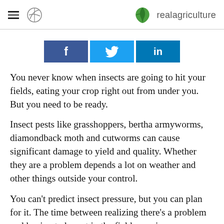realagriculture
[Figure (infographic): Social media share buttons: Facebook (f), Twitter (bird icon), LinkedIn (in)]
You never know when insects are going to hit your fields, eating your crop right out from under you. But you need to be ready.
Insect pests like grasshoppers, bertha armyworms, diamondback moth and cutworms can cause significant damage to yield and quality. Whether they are a problem depends a lot on weather and other things outside your control.
You can't predict insect pressure, but you can plan for it. The time between realizing there's a problem and having to be out in the field spraying